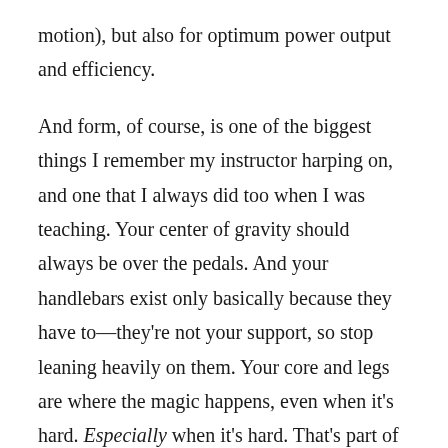motion), but also for optimum power output and efficiency.
And form, of course, is one of the biggest things I remember my instructor harping on, and one that I always did too when I was teaching. Your center of gravity should always be over the pedals. And your handlebars exist only basically because they have to—they're not your support, so stop leaning heavily on them. Your core and legs are where the magic happens, even when it's hard. Especially when it's hard. That's part of why we're doing this.